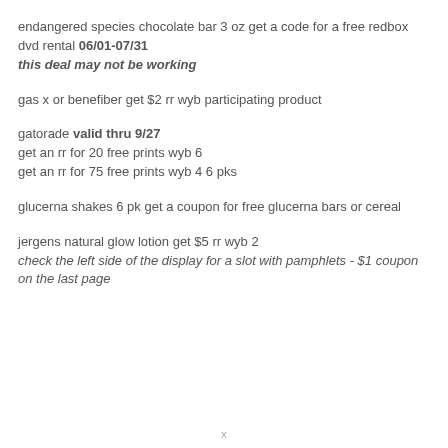endangered species chocolate bar 3 oz get a code for a free redbox dvd rental 06/01-07/31
this deal may not be working
gas x or benefiber get $2 rr wyb participating product
gatorade valid thru 9/27
get an rr for 20 free prints wyb 6
get an rr for 75 free prints wyb 4 6 pks
glucerna shakes 6 pk get a coupon for free glucerna bars or cereal
jergens natural glow lotion get $5 rr wyb 2
check the left side of the display for a slot with pamphlets - $1 coupon on the last page
x